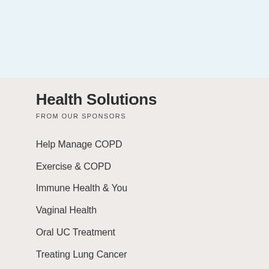Health Solutions
FROM OUR SPONSORS
Help Manage COPD
Exercise & COPD
Immune Health & You
Vaginal Health
Oral UC Treatment
Treating Lung Cancer
ADVERTISEMENT